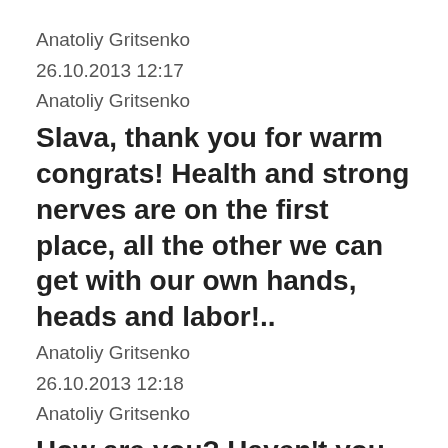Anatoliy Gritsenko
26.10.2013 12:17
Anatoliy Gritsenko
Slava, thank you for warm congrats! Health and strong nerves are on the first place, all the other we can get with our own hands, heads and labor!..
Anatoliy Gritsenko
26.10.2013 12:18
Anatoliy Gritsenko
How are you? Haven't you